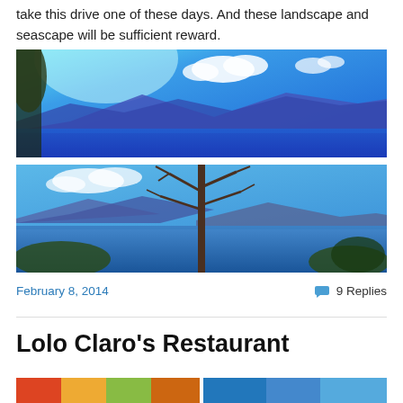take this drive one of these days. And these landscape and seascape will be sufficient reward.
[Figure (photo): Panoramic view of blue sea and mountains with clouds in blue sky, trees on left]
[Figure (photo): Panoramic view of sea and mountains with bare tree in foreground center, blue sky with clouds]
February 8, 2014
9 Replies
Lolo Claro's Restaurant
[Figure (photo): Bottom partial strip showing colorful restaurant or food scene, two panels]